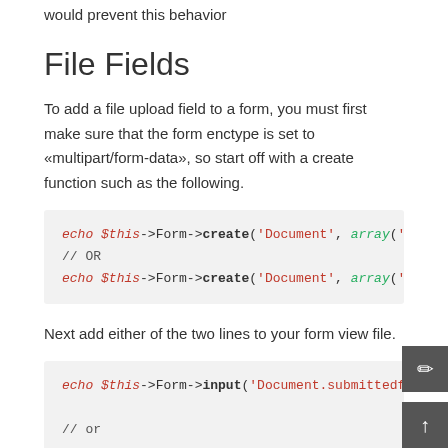would prevent this behavior
File Fields
To add a file upload field to a form, you must first make sure that the form enctype is set to «multipart/form-data», so start off with a create function such as the following.
[Figure (screenshot): Code block showing: echo $this->Form->create('Document', array('encty // OR echo $this->Form->create('Document', array('type']
Next add either of the two lines to your form view file.
[Figure (screenshot): Code block showing: echo $this->Form->input('Document.submittedfile', // or echo $this->Form->file('Document.submittedfile]